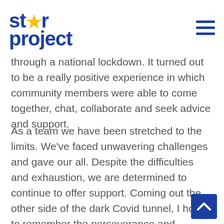star project
through a national lockdown. It turned out to be a really positive experience in which community members were able to come together, chat, collaborate and seek advice and support.
As a team we have been stretched to the limits. We've faced unwavering challenges and gave our all. Despite the difficulties and exhaustion, we are determined to continue to offer support. Coming out the other side of the dark Covid tunnel, I hope to remember the perseverance and strength we've all shown, and to utilise this strength in the months ahead when more challenges present themselves. The light at the